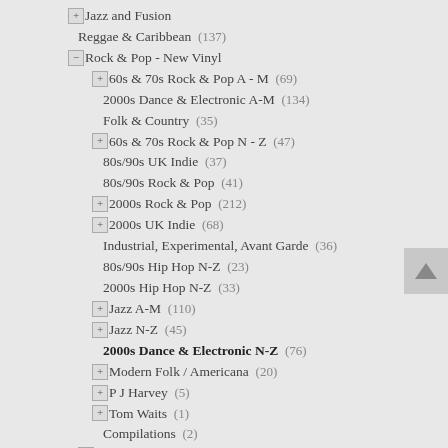+ Jazz and Fusion
Reggae & Caribbean  (137)
- Rock & Pop - New Vinyl
+ 60s & 70s Rock & Pop A - M  (69)
2000s Dance & Electronic A-M  (134)
Folk & Country  (35)
+ 60s & 70s Rock & Pop N - Z  (47)
80s/90s UK Indie  (37)
80s/90s Rock & Pop  (41)
+ 2000s Rock & Pop  (212)
+ 2000s UK Indie  (68)
Industrial, Experimental, Avant Garde  (36)
80s/90s Hip Hop N-Z  (23)
2000s Hip Hop N-Z  (33)
+ Jazz A-M  (110)
+ Jazz N-Z  (45)
2000s Dance & Electronic N-Z  (76)
+ Modern Folk / Americana  (20)
+ P J Harvey  (5)
+ Tom Waits  (1)
Compilations  (2)
+ Soul & Funk  (149)
+ Specialist Rock - New
+ Used Stock